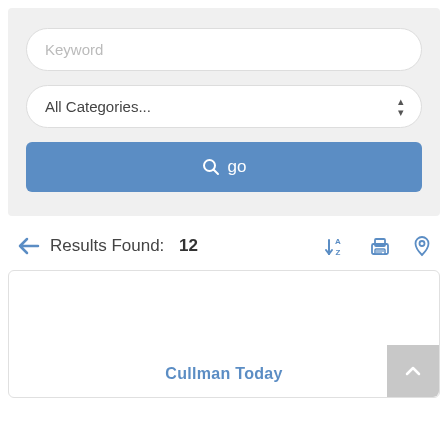[Figure (screenshot): Search form with keyword input field, All Categories dropdown, and a blue 'go' button]
Results Found: 12
[Figure (infographic): Three icon buttons: A-Z sort, print, and location pin]
Cullman Today